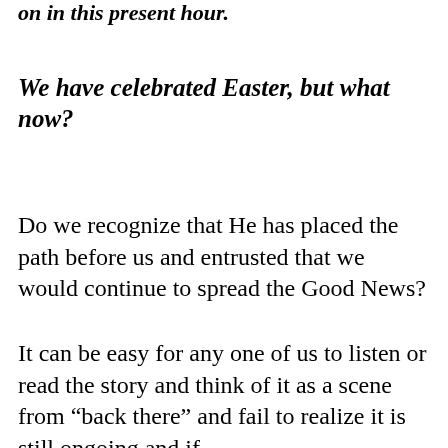on in this present hour.
We have celebrated Easter, but what now?
Do we recognize that He has placed the path before us and entrusted that we would continue to spread the Good News?
It can be easy for any one of us to listen or read the story and think of it as a scene from “back there” and fail to realize it is still ongoing and if...